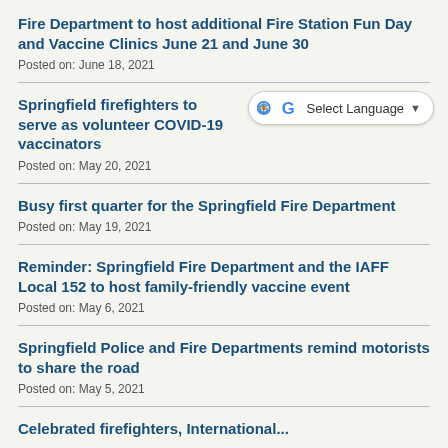Fire Department to host additional Fire Station Fun Day and Vaccine Clinics June 21 and June 30
Posted on: June 18, 2021
Springfield firefighters to serve as volunteer COVID-19 vaccinators
Posted on: May 20, 2021
Busy first quarter for the Springfield Fire Department
Posted on: May 19, 2021
Reminder: Springfield Fire Department and the IAFF Local 152 to host family-friendly vaccine event
Posted on: May 6, 2021
Springfield Police and Fire Departments remind motorists to share the road
Posted on: May 5, 2021
Celebrated firefighters, International...